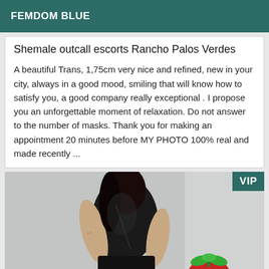FEMDOM BLUE
Shemale outcall escorts Rancho Palos Verdes
A beautiful Trans, 1,75cm very nice and refined, new in your city, always in a good mood, smiling that will know how to satisfy you, a good company really exceptional . I propose you an unforgettable moment of relaxation. Do not answer to the number of masks. Thank you for making an appointment 20 minutes before MY PHOTO 100% real and made recently ...
[Figure (photo): A person wearing a black leather outfit with tattoos on arms, with a strawberry graphic in the lower right, and a VIP badge in the top right corner]